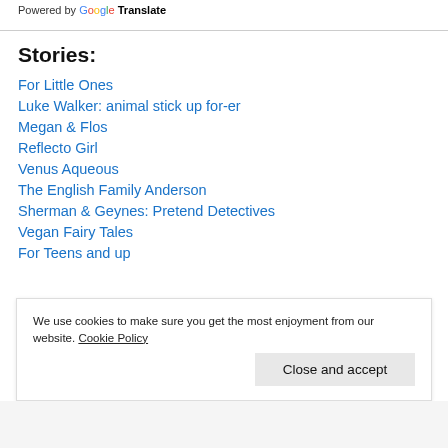Powered by Google Translate
Stories:
For Little Ones
Luke Walker: animal stick up for-er
Megan & Flos
Reflecto Girl
Venus Aqueous
The English Family Anderson
Sherman & Geynes: Pretend Detectives
Vegan Fairy Tales
For Teens and up
We use cookies to make sure you get the most enjoyment from our website. Cookie Policy
Close and accept